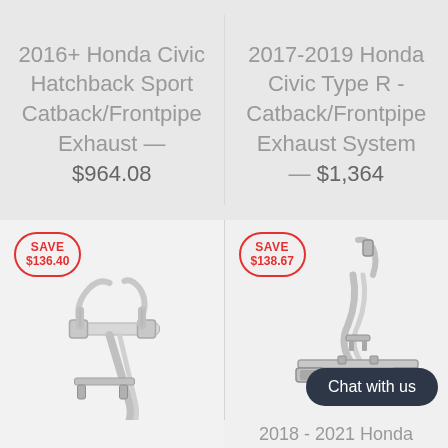2016+ Honda Civic Hatchback Sport Catback/Frontpipe Exhaust — $964.08
2017-2019 Honda Civic Type R - Catback/Frontpipe Exhaust System — $1,364
[Figure (photo): SAVE $136.40 badge and product photo of Honda Civic Hatchback Sport Catback/Frontpipe exhaust system (polished silver exhaust pipes)]
[Figure (photo): SAVE $138.67 badge and product photo of Honda Civic Type R Catback/Frontpipe exhaust system with Chat with us button overlay]
2018 - 2021 Honda Accord Sport 1.5T...